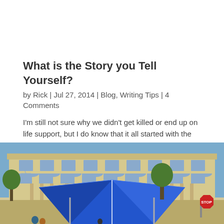What is the Story you Tell Yourself?
by Rick | Jul 27, 2014 | Blog, Writing Tips | 4 Comments
I'm still not sure why we didn't get killed or end up on life support, but I do know that it all started with the story the young girl in the red SUV was telling herself. Recently, I was pulling our camper with my wife riding shotgun on a stretch of Kansas road called...
[Figure (photo): Photo of a large stone neoclassical government building with columns and arched windows, blue sky visible, a blue pop-up canopy/tent in the foreground, a stop sign visible on the right side, trees and people at street level.]